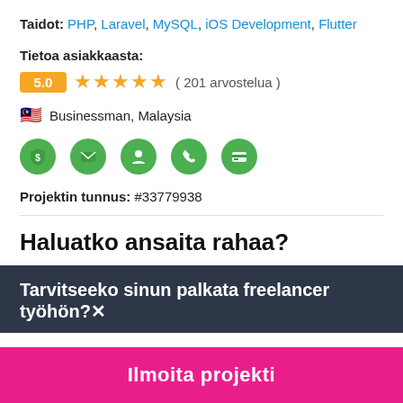Taidot: PHP, Laravel, MySQL, iOS Development, Flutter
Tietoa asiakkaasta:
5.0 ★★★★★ ( 201 arvostelua )
🇲🇾 Businessman, Malaysia
[Figure (infographic): Five green icon circles: dollar shield, envelope, person, phone, credit card]
Projektin tunnus: #33779938
Haluatko ansaita rahaa?
Tarvitseeko sinun palkata freelancer työhön?
Ilmoita projekti